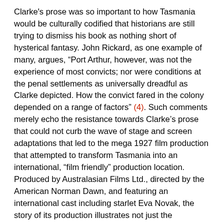Clarke's prose was so important to how Tasmania would be culturally codified that historians are still trying to dismiss his book as nothing short of hysterical fantasy. John Rickard, as one example of many, argues, “Port Arthur, however, was not the experience of most convicts; nor were conditions at the penal settlements as universally dreadful as Clarke depicted. How the convict fared in the colony depended on a range of factors” (4). Such comments merely echo the resistance towards Clarke’s prose that could not curb the wave of stage and screen adaptations that led to the mega 1927 film production that attempted to transform Tasmania into an international, “film friendly” production location. Produced by Australasian Films Ltd., directed by the American Norman Dawn, and featuring an international cast including starlet Eva Novak, the story of its production illustrates not just the difficulties in location shooting in Tasmania during this period but also the political and censorship obstacles that arise when adapting such a provocative and politically topical text – especially at a time when the Tasmanian Government was attempting to rebrand itself as a family tourist (“Come to Tasmania”) destination (5).